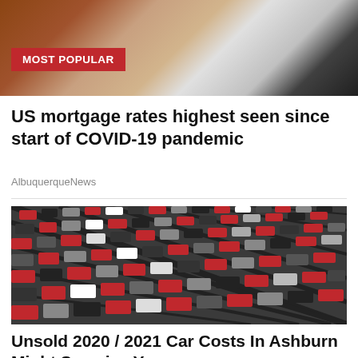[Figure (photo): Aerial/close-up photo of a house rooftop and brick wall with a 'MOST POPULAR' red badge overlay]
US mortgage rates highest seen since start of COVID-19 pandemic
AlbuquerqueNews
[Figure (photo): Aerial photo of a large car lot filled with rows of unsold cars in various colors including red, black, grey, and white]
Unsold 2020 / 2021 Car Costs In Ashburn Might Surprise You